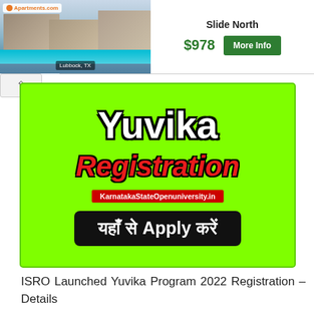[Figure (screenshot): Apartments.com advertisement banner showing a pool/resort property in Lubbock, TX with price $978 and More Info button, with Slide North label]
[Figure (infographic): Green background card with 'Yuvika' in large white bold text with black outline, 'Registration' in large red italic bold text with black outline, KarnatakaStateOpenuniversity.in badge in red, and black button reading 'यहाँ से Apply करें']
ISRO Launched Yuvika Program 2022 Registration – Details